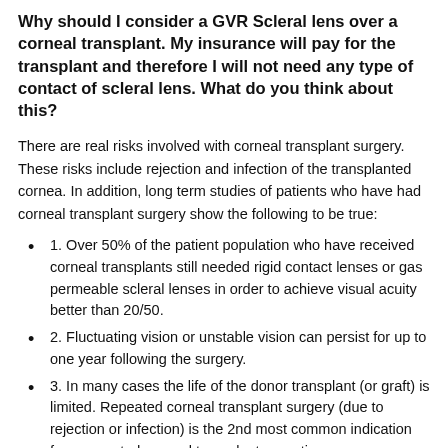Why should I consider a GVR Scleral lens over a corneal transplant. My insurance will pay for the transplant and therefore I will not need any type of contact of scleral lens. What do you think about this?
There are real risks involved with corneal transplant surgery. These risks include rejection and infection of the transplanted cornea. In addition, long term studies of patients who have had corneal transplant surgery show the following to be true:
1. Over 50% of the patient population who have received corneal transplants still needed rigid contact lenses or gas permeable scleral lenses in order to achieve visual acuity better than 20/50.
2. Fluctuating vision or unstable vision can persist for up to one year following the surgery.
3. In many cases the life of the donor transplant (or graft) is limited. Repeated corneal transplant surgery (due to rejection or infection) is the 2nd most common indication for a repeated corneal transplant operation.
4. There is a life long risk of rejection. This risk is greater in younger patients.
5. There is a life long risk of corneal transplant...